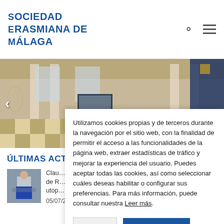Sociedad Erasmiana de Málaga
[Figure (photo): Interior of an ornate hall with columns, checkered floor, a TV screen on a stand, and decorative banners. Navigation arrow visible on left.]
Utilizamos cookies propias y de terceros durante la navegación por el sitio web, con la finalidad de permitir el acceso a las funcionalidades de la página web, extraer estadísticas de tráfico y mejorar la experiencia del usuario. Puedes aceptar todas las cookies, así como seleccionar cuáles deseas habilitar o configurar sus preferencias. Para más información, puede consultar nuestra Leer más.
Últimas Acti…
Clau… de R… utop… 05/07/2022